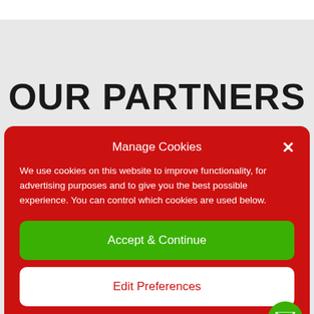OUR PARTNERS
Manage Cookies
We use cookies on this website to improve functionality, for advertising purposes and to give you the best possible experience. You can control which cookies are used below.
Accept & Continue
Edit Preferences
Cookie Policy  Privacy Statement